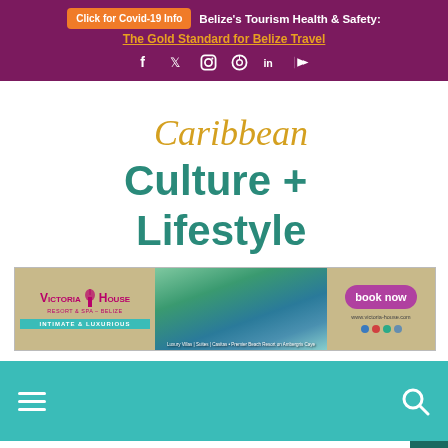Click for Covid-19 Info  Belize's Tourism Health & Safety: The Gold Standard for Belize Travel
[Figure (logo): Caribbean Culture + Lifestyle magazine logo in gold script and teal block letters]
[Figure (infographic): Victoria House Resort & Spa - Belize advertisement banner with book now button]
[Figure (other): Teal navigation bar with hamburger menu icon on left and search icon on right]
[Figure (other): Back to top arrow button in dark teal at bottom right]